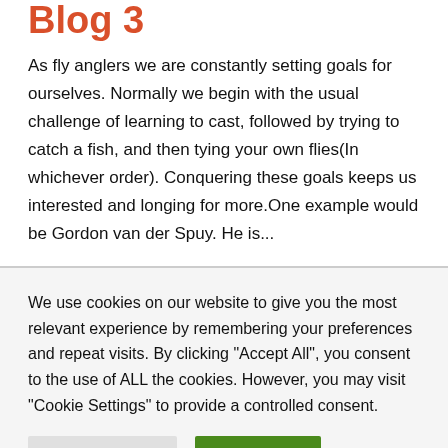Blog 3
As fly anglers we are constantly setting goals for ourselves. Normally we begin with the usual challenge of learning to cast, followed by trying to catch a fish, and then tying your own flies(In whichever order). Conquering these goals keeps us interested and longing for more.One example would be Gordon van der Spuy. He is...
We use cookies on our website to give you the most relevant experience by remembering your preferences and repeat visits. By clicking "Accept All", you consent to the use of ALL the cookies. However, you may visit "Cookie Settings" to provide a controlled consent.
Cookie Settings | Accept All